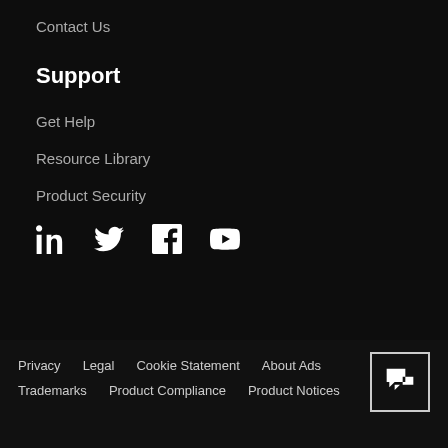Contact Us
Support
Get Help
Resource Library
Product Security
[Figure (illustration): Social media icons: LinkedIn, Twitter, Facebook, YouTube]
Privacy   Legal   Cookie Statement   About Ads   Trademarks   Product Compliance   Product Notices